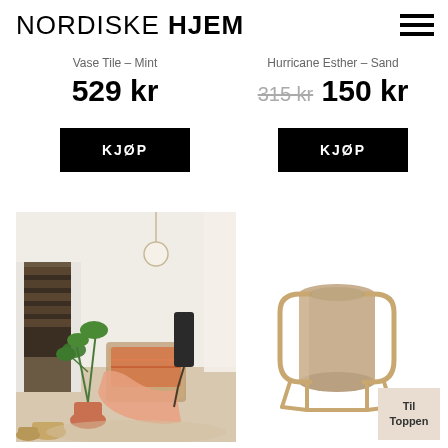NORDISKE HJEM
Vase Tile – Mint
Hurricane Esther – Sand
529 kr
315 kr 150 kr
KJØP
KJØP
[Figure (photo): Cozy Scandinavian living room with a rattan chair, orange striped cushions, a terracotta blanket, houseplants, a hanging macramé plant holder, a dark cylindrical lamp, wicker baskets, a pink ceramic pot, and warm natural light through curtains.]
[Figure (photo): Beige/sand colored tall cylindrical lamp shade on a thin gold/bronze metal stand with arched frame legs.]
Til Toppen